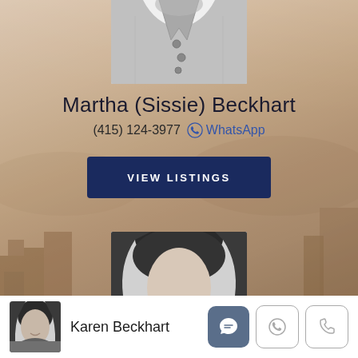[Figure (photo): Partial black-and-white photo of a woman in a leather jacket, cropped to show neck and torso area]
Martha (Sissie) Beckhart
(415) 124-3977  WhatsApp
VIEW LISTINGS
[Figure (photo): Partial black-and-white photo of a second woman, showing the top of dark hair, cropped at bottom]
[Figure (photo): Small thumbnail black-and-white photo of Karen Beckhart]
Karen Beckhart